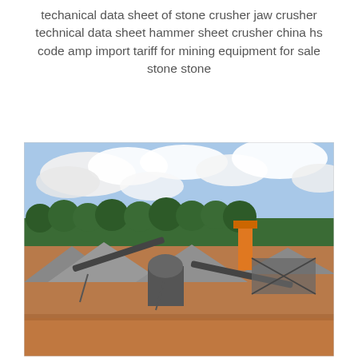techanical data sheet of stone crusher jaw crusher technical data sheet hammer sheet crusher china hs code amp import tariff for mining equipment for sale stone stone
[Figure (photo): Aerial view of a stone crushing plant with conveyor belts, cone crushers, aggregate piles, and an orange industrial tower. A row of palm trees and cloudy sky are visible in the background. The foreground shows red-earth ground.]